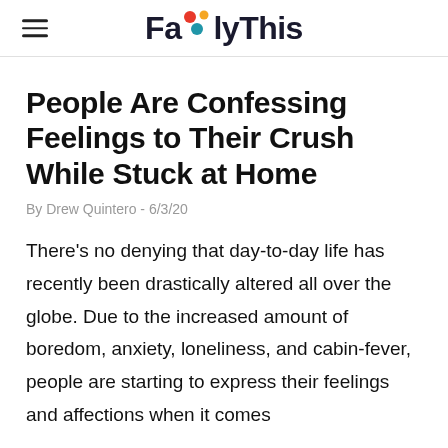FamilyThis
People Are Confessing Feelings to Their Crush While Stuck at Home
By Drew Quintero - 6/3/20
There's no denying that day-to-day life has recently been drastically altered all over the globe. Due to the increased amount of boredom, anxiety, loneliness, and cabin-fever, people are starting to express their feelings and affections when it comes